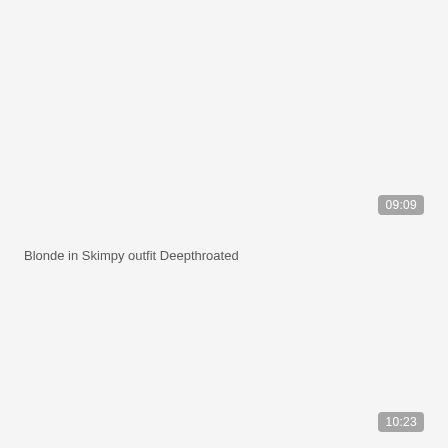09:09
Blonde in Skimpy outfit Deepthroated
10:23